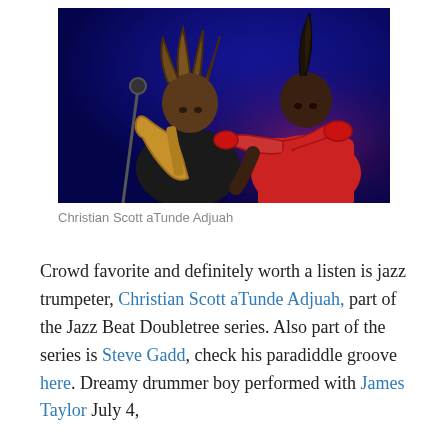[Figure (photo): Two jazz musicians performing on stage. One plays a saxophone on the left, the other plays a red trumpet on the right wearing a red jacket. Dark blue stage lighting background.]
Christian Scott aTunde Adjuah
Crowd favorite and definitely worth a listen is jazz trumpeter, Christian Scott aTunde Adjuah, part of the Jazz Beat Doubletree series. Also part of the series is Steve Gadd, check his paradiddle groove here. Dreamy drummer boy performed with James Taylor July 4,